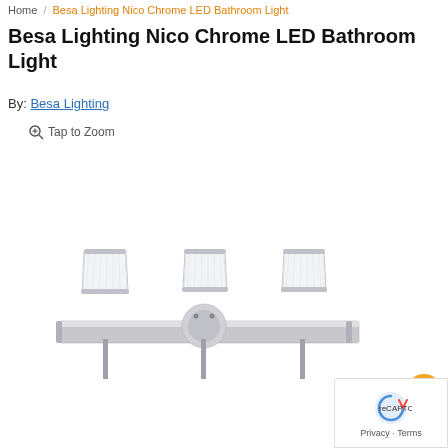Home / Besa Lighting Nico Chrome LED Bathroom Light
Besa Lighting Nico Chrome LED Bathroom Light
By: Besa Lighting
Tap to Zoom
[Figure (photo): Besa Lighting Nico Chrome LED Bathroom Light — a three-light vanity bar with chrome finish and clear ribbed glass bell-shaped shades, shown on a white background.]